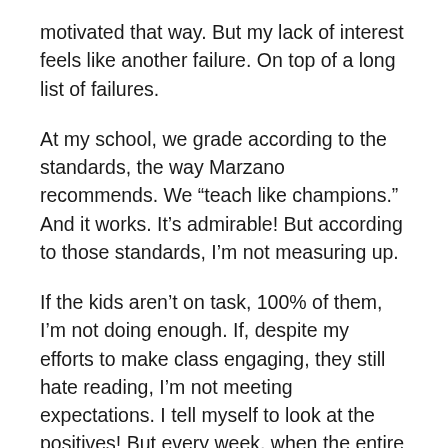motivated that way. But my lack of interest feels like another failure. On top of a long list of failures.
At my school, we grade according to the standards, the way Marzano recommends. We “teach like champions.” And it works. It’s admirable! But according to those standards, I’m not measuring up.
If the kids aren’t on task, 100% of them, I’m not doing enough. If, despite my efforts to make class engaging, they still hate reading, I’m not meeting expectations. I tell myself to look at the positives! But every week, when the entire administrative team marches in with clipboards to count the number of kids sneaking a peek at their phones, I feel — more and more — like a scolded student myself.
No wonder the kids hate class and try to play. I hate class